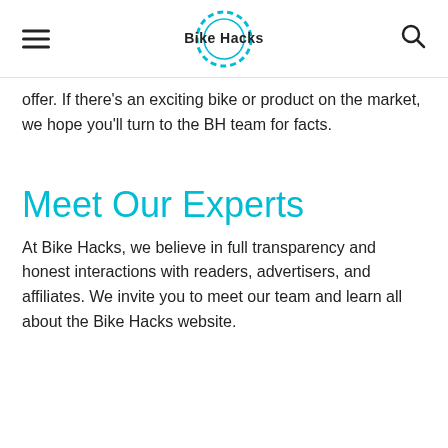Bike Hacks
offer. If there's an exciting bike or product on the market, we hope you'll turn to the BH team for facts.
Meet Our Experts
At Bike Hacks, we believe in full transparency and honest interactions with readers, advertisers, and affiliates. We invite you to meet our team and learn all about the Bike Hacks website.